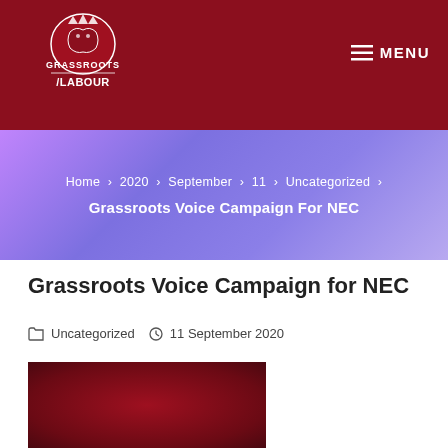Grassroots Labour — MENU
Home › 2020 › September › 11 › Uncategorized › Grassroots Voice Campaign For NEC
Grassroots Voice Campaign for NEC
Uncategorized  11 September 2020
[Figure (photo): Dark red/maroon image at the bottom of the page, partially visible]